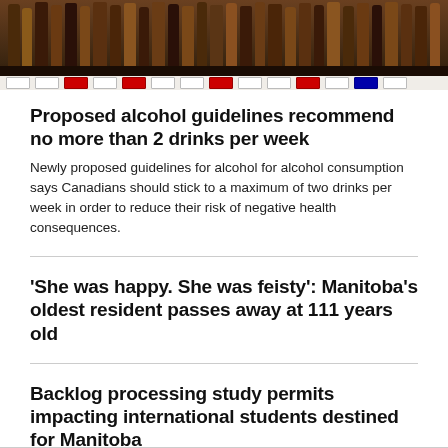[Figure (photo): Photo of alcohol bottles on a store shelf with price tags visible]
Proposed alcohol guidelines recommend no more than 2 drinks per week
Newly proposed guidelines for alcohol for alcohol consumption says Canadians should stick to a maximum of two drinks per week in order to reduce their risk of negative health consequences.
'She was happy. She was feisty': Manitoba's oldest resident passes away at 111 years old
Backlog processing study permits impacting international students destined for Manitoba